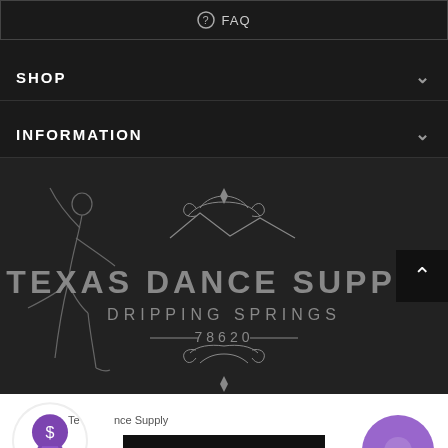FAQ
SHOP
INFORMATION
[Figure (logo): Texas Dance Supply logo — dancer silhouette on left, ornate decorative border with text 'TEXAS DANCE SUPPLY / DRIPPING SPRINGS / 78620' on dark background]
Texas Dance Supply
ADD TO CART